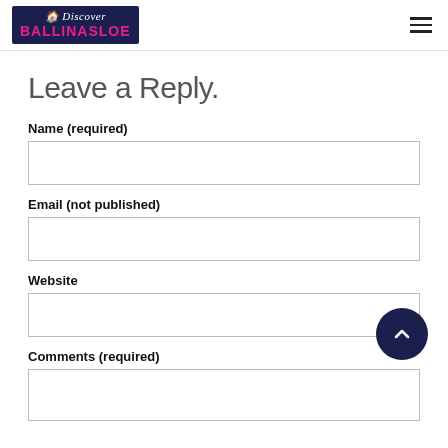Discover BALLINASLOE
Leave a Reply.
Name (required)
Email (not published)
Website
Comments (required)